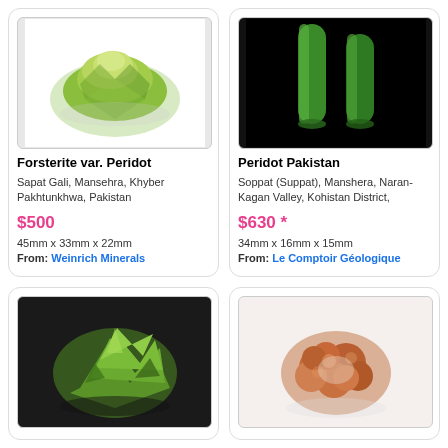[Figure (photo): Green peridot crystal on white background]
Forsterite var. Peridot
Sapat Gali, Mansehra, Khyber Pakhtunkhwa, Pakistan
$500
45mm x 33mm x 22mm
From: Weinrich Minerals
[Figure (photo): Green cylindrical peridot crystals on black background]
Peridot Pakistan
Soppat (Suppat), Manshera, Naran-Kagan Valley, Kohistan District,
$630 *
34mm x 16mm x 15mm
From: Le Comptoir Géologique
[Figure (photo): Green peridot mineral cluster on dark background]
[Figure (photo): Reddish-brown mineral cluster on white background]